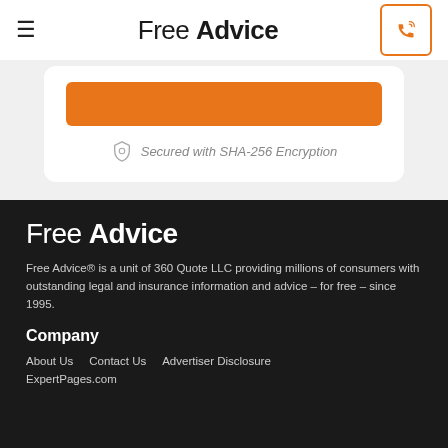Free Advice
[Figure (other): Orange button (CTA) inside a white card]
Secured with SHA-256 Encryption
Free Advice
Free Advice® is a unit of 360 Quote LLC providing millions of consumers with outstanding legal and insurance information and advice – for free – since 1995.
Company
About Us
Contact Us
Advertiser Disclosure
ExpertPages.com